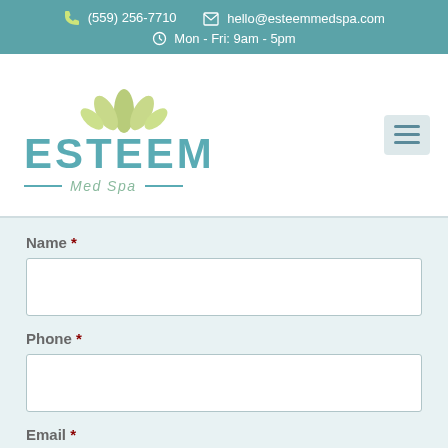(559) 256-7710   hello@esteemmedspa.com   Mon - Fri: 9am - 5pm
[Figure (logo): Esteem Med Spa logo with green leaf icon and teal text]
Name *
Phone *
Email *